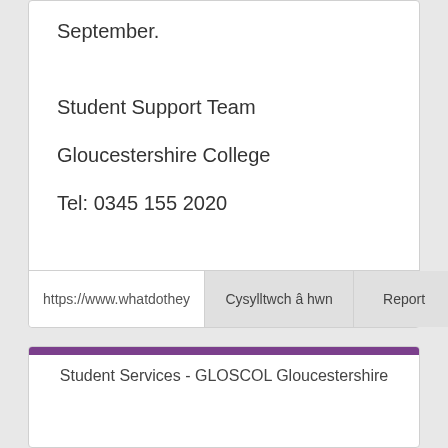September.
Student Support Team
Gloucestershire College
Tel: 0345 155 2020
https://www.whatdothey   Cysylltwch â hwn   Report
Student Services - GLOSCOL Gloucestershire